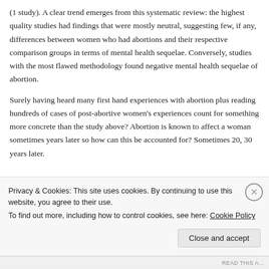(1 study). A clear trend emerges from this systematic review: the highest quality studies had findings that were mostly neutral, suggesting few, if any, differences between women who had abortions and their respective comparison groups in terms of mental health sequelae. Conversely, studies with the most flawed methodology found negative mental health sequelae of abortion.
Surely having heard many first hand experiences with abortion plus reading hundreds of cases of post-abortive women's experiences count for something more concrete than the study above? Abortion is known to affect a woman sometimes years later so how can this be accounted for? Sometimes 20, 30 years later.
★ Like
Privacy & Cookies: This site uses cookies. By continuing to use this website, you agree to their use.
To find out more, including how to control cookies, see here: Cookie Policy